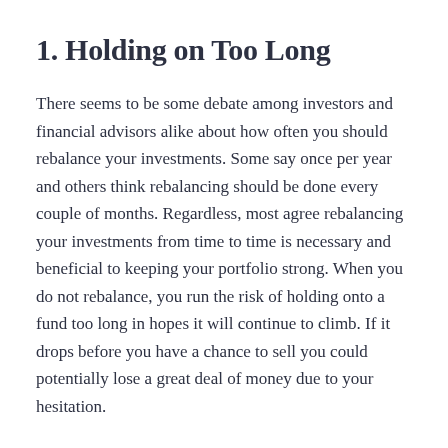1. Holding on Too Long
There seems to be some debate among investors and financial advisors alike about how often you should rebalance your investments. Some say once per year and others think rebalancing should be done every couple of months. Regardless, most agree rebalancing your investments from time to time is necessary and beneficial to keeping your portfolio strong. When you do not rebalance, you run the risk of holding onto a fund too long in hopes it will continue to climb. If it drops before you have a chance to sell you could potentially lose a great deal of money due to your hesitation.
2. Waiting Too Long to Buy